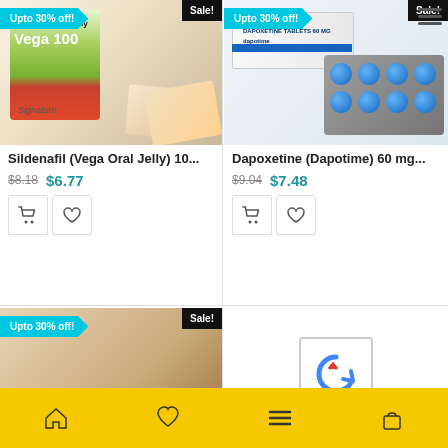[Figure (photo): Sildenafil Vega Oral Jelly 100 product photo with ribbon and Sale badge]
[Figure (photo): Dapoxetine Dapotime 60mg tablets product photo with ribbon, hamburger menu, and Sale badge]
Sildenafil (Vega Oral Jelly) 10...
Dapoxetine (Dapotime) 60 mg...
$8.18  $6.77
$9.04  $7.48
[Figure (photo): Vilitra 20 tablet package photo with ribbon and Sale badge (partially visible)]
[Figure (photo): reCAPTCHA or partial widget bottom right (partially visible)]
Home | Wishlist | Menu | Cart